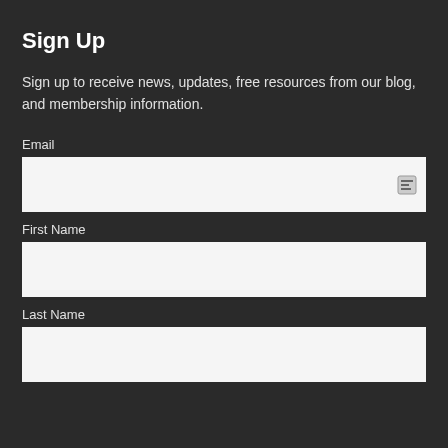Sign Up
Sign up to receive news, updates, free resources from our blog, and membership information.
Email
[Figure (other): Email input field with a password/key icon on the right]
First Name
[Figure (other): First Name input field, empty]
Last Name
[Figure (other): Last Name input field, empty]